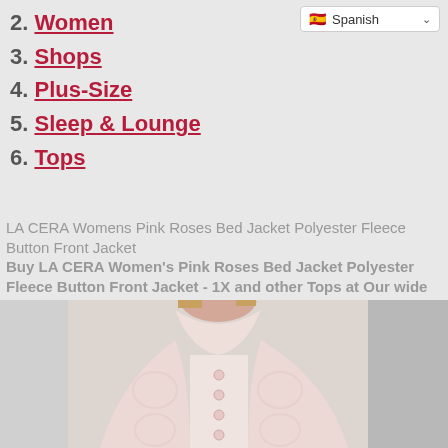2. Women
3. Shops
4. Plus-Size
5. Sleep & Lounge
6. Tops
LA CERA Womens Pink Roses Bed Jacket Polyester Fleece Button Front Jacket Buy LA CERA Women's Pink Roses Bed Jacket Polyester Fleece Button Front Jacket - 1X and other Tops at Our wide selection is elegible for free shipping and free returns Free shipping service Daily Deals for upto 90% off discounts.
[Figure (photo): Woman wearing a pink floral fleece button-front bed jacket, shown from neck to mid-torso against a light background.]